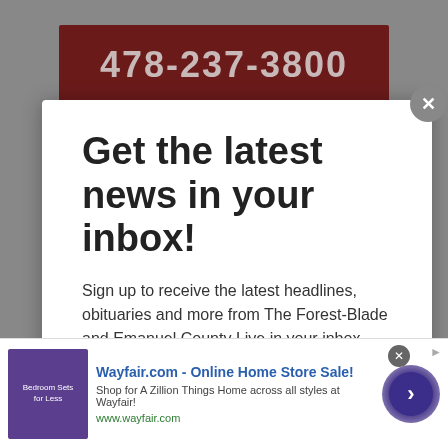[Figure (screenshot): Background with dark red banner showing phone number 478-237-3800]
Get the latest news in your inbox!
Sign up to receive the latest headlines, obituaries and more from The Forest-Blade and Emanuel County Live in your inbox.
*Email
[Figure (screenshot): Wayfair.com advertisement: Online Home Store Sale! Shop for A Zillion Things Home across all styles at Wayfair! www.wayfair.com]